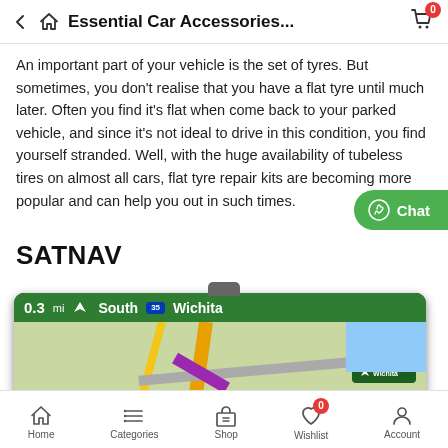Essential Car Accessories...
An important part of your vehicle is the set of tyres. But sometimes, you don't realise that you have a flat tyre until much later. Often you find it's flat when come back to your parked vehicle, and since it's not ideal to drive in this condition, you find yourself stranded. Well, with the huge availability of tubeless tires on almost all cars, flat tyre repair kits are becoming more popular and can help you out in such times.
SATNAV
[Figure (photo): GPS/SatNav device showing a navigation screen with '0.3mi South I-35 Wichita' direction and a map view]
Home  Categories  Shop  Wishlist  Account